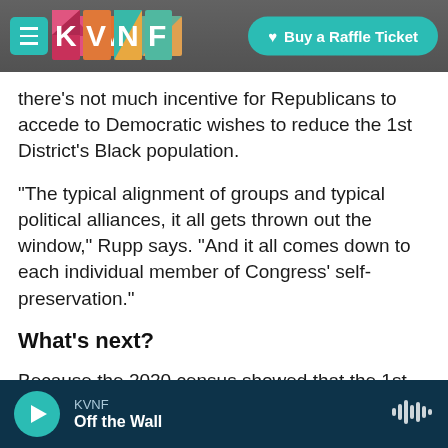KVNF | Buy a Raffle Ticket
there's not much incentive for Republicans to accede to Democratic wishes to reduce the 1st District's Black population.
"The typical alignment of groups and typical political alliances, it all gets thrown out the window," Rupp says. "And it all comes down to each individual member of Congress' self-preservation."
What's next?
Because the 2020 census showed that the 1st District lost tens of thousands of people, Missouri
KVNF | Off the Wall